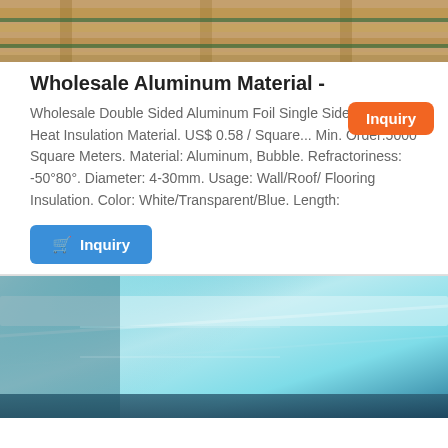[Figure (photo): Photo of wooden pallets with wrapped goods in a warehouse or storage area, warm brown tones]
Wholesale Aluminum Material -
Wholesale Double Sided Aluminum Foil Single Side Bubble Heat Insulation Material. US$ 0.58 / Square... Min. Order:5000 Square Meters. Material: Aluminum, Bubble. Refractoriness: -50°80°. Diameter: 4-30mm. Usage: Wall/Roof/ Flooring Insulation. Color: White/Transparent/Blue. Length:
[Figure (other): Orange Inquiry badge button overlaid in top right of product description]
[Figure (other): Blue Inquiry button with shopping cart icon]
[Figure (photo): Photo of shiny blue-tinted aluminum sheet material, metallic surface with reflections]